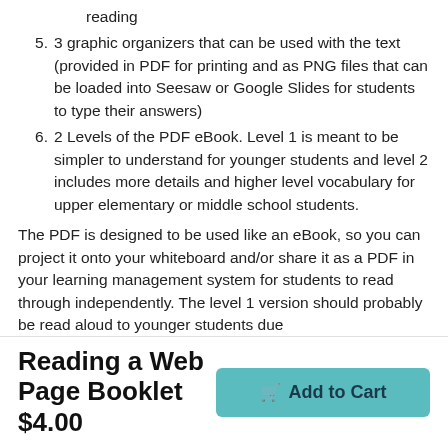reading
5. 3 graphic organizers that can be used with the text (provided in PDF for printing and as PNG files that can be loaded into Seesaw or Google Slides for students to type their answers)
6. 2 Levels of the PDF eBook. Level 1 is meant to be simpler to understand for younger students and level 2 includes more details and higher level vocabulary for upper elementary or middle school students.
The PDF is designed to be used like an eBook, so you can project it onto your whiteboard and/or share it as a PDF in your learning management system for students to read through independently. The level 1 version should probably be read aloud to younger students due
Reading a Web Page Booklet
$4.00
Add to Cart